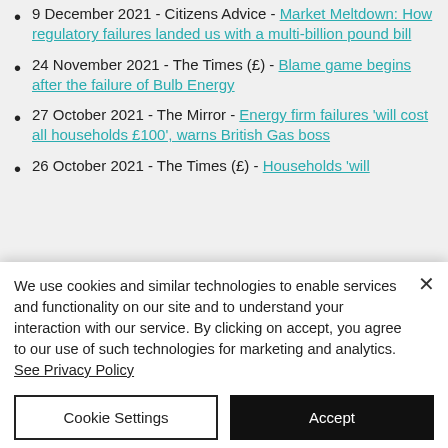9 December 2021 - Citizens Advice - Market Meltdown: How regulatory failures landed us with a multi-billion pound bill
24 November 2021 - The Times (£) - Blame game begins after the failure of Bulb Energy
27 October 2021 - The Mirror - Energy firm failures 'will cost all households £100', warns British Gas boss
26 October 2021 - The Times (£) - Households 'will
We use cookies and similar technologies to enable services and functionality on our site and to understand your interaction with our service. By clicking on accept, you agree to our use of such technologies for marketing and analytics. See Privacy Policy
Cookie Settings | Accept